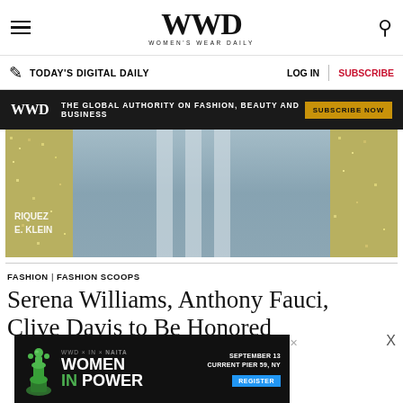WWD WOMEN'S WEAR DAILY
TODAY'S DIGITAL DAILY | LOG IN | SUBSCRIBE
WWD THE GLOBAL AUTHORITY ON FASHION, BEAUTY AND BUSINESS SUBSCRIBE NOW
[Figure (photo): Close-up fashion photo showing sequined/glittery fabric on the sides with a mirrored panel in the center, with text overlay showing partial credits including RIQUEZ and E. KLEIN]
FASHION | FASHION SCOOPS
Serena Williams, Anthony Fauci, Clive Davis to Be Honored
[Figure (infographic): Advertisement for WWD x IN x NAITA Women in Power event, September 13, Current Pier 59 NY, with Register button and green chess queen piece]